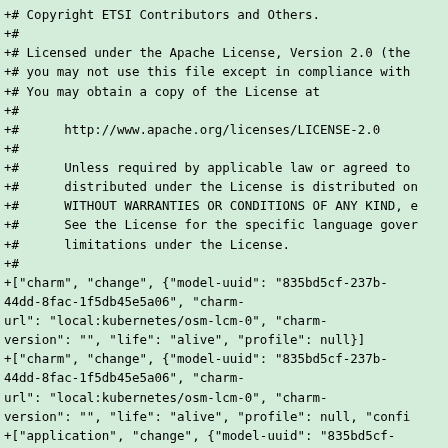+# Copyright ETSI Contributors and Others.
+#
+# Licensed under the Apache License, Version 2.0 (the
+# you may not use this file except in compliance with
+# You may obtain a copy of the License at
+#
+#      http://www.apache.org/licenses/LICENSE-2.0
+#
+#      Unless required by applicable law or agreed to
+#      distributed under the License is distributed on
+#      WITHOUT WARRANTIES OR CONDITIONS OF ANY KIND, e
+#      See the License for the specific language gover
+#      limitations under the License.
+#
+["charm", "change", {"model-uuid": "835bd5cf-237b-44dd-8fac-1f5db45e5a06", "charm-url": "local:kubernetes/osm-lcm-0", "charm-version": "", "life": "alive", "profile": null}]
+["charm", "change", {"model-uuid": "835bd5cf-237b-44dd-8fac-1f5db45e5a06", "charm-url": "local:kubernetes/osm-lcm-0", "charm-version": "", "life": "alive", "profile": null, "confi
+["application", "change", {"model-uuid": "835bd5cf-237b-44dd-8fac-1f5db45e5a06", "name": "lcm", "exposed": false, "charm